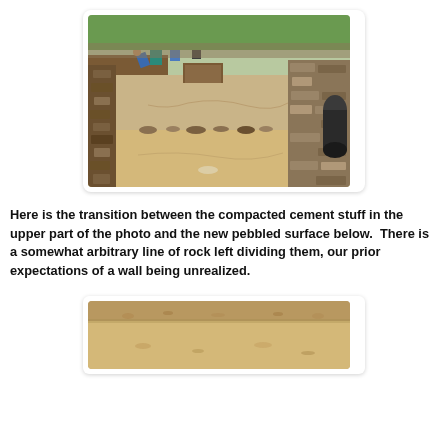[Figure (photo): Archaeological excavation site showing a large trench area with compacted cement-like surface in the upper portion and a pebbled surface below, separated by a line of rocks. Several people are working in the background amid stone walls.]
Here is the transition between the compacted cement stuff in the upper part of the photo and the new pebbled surface below.  There is a somewhat arbitrary line of rock left dividing them, our prior expectations of a wall being unrealized.
[Figure (photo): Close-up view of an archaeological excavation surface showing sandy/earthy ground texture with some small marks or indentations visible.]